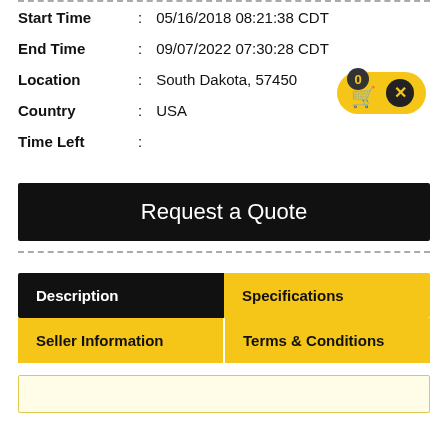Start Time : 05/16/2018 08:21:38 CDT
End Time : 09/07/2022 07:30:28 CDT
Location : South Dakota, 57450
Country : USA
Time Left :
[Figure (other): Shopping cart badge with 0 count and close button, gold pill shape]
Request a Quote
| Description | Specifications |
| --- | --- |
| Seller Information | Terms & Conditions |